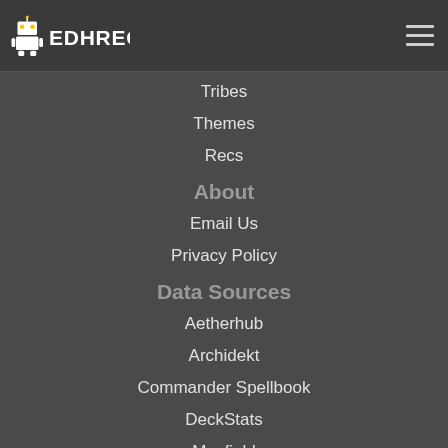EDHREC
Tribes
Themes
Recs
About
Email Us
Privacy Policy
Data Sources
Aetherhub
Archidekt
Commander Spellbook
DeckStats
Moxfield
MTGGoldfish
Scryfall
Follow Us
Facebook